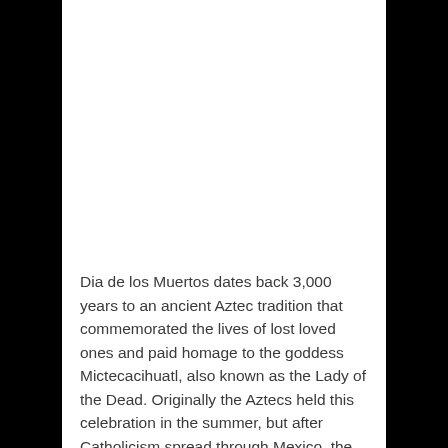Dia de los Muertos dates back 3,000 years to an ancient Aztec tradition that commemorated the lives of lost loved ones and paid homage to the goddess Mictecacihuatl, also known as the Lady of the Dead. Originally the Aztecs held this celebration in the summer, but after Catholicism spread through Mexico, the holiday was moved to coincide with the Christian holiday of All Souls Day on